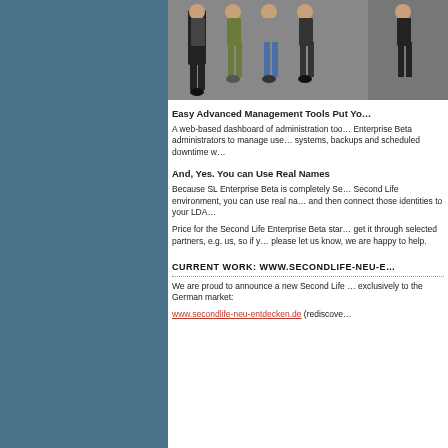[Figure (illustration): Row of virtual 3D human avatars/figures standing, showing various outfits including pants and casual clothing, cropped at torso/legs level]
Easy Advanced Management Tools Put You in Control
A web-based dashboard of administration tools lets Second Life Enterprise Beta administrators to manage users, monitors installed systems, backups and scheduled downtime w…
And, Yes. You can Use Real Names
Because SL Enterprise Beta is completely Se… Second Life environment, you can use real na… and then connect those identities to your LDA…
Price for the Second Life Enterprise Beta star… get it through selected partners, e.g. us, so if y… please let us know, we are happy to help.
CURRENT WORK: WWW.SECONDLIFE-NEU-E…
We are proud to announce a new Second Life … exclusively to the German market:
www.secondlife-neu-entdecken.de (rediscove…